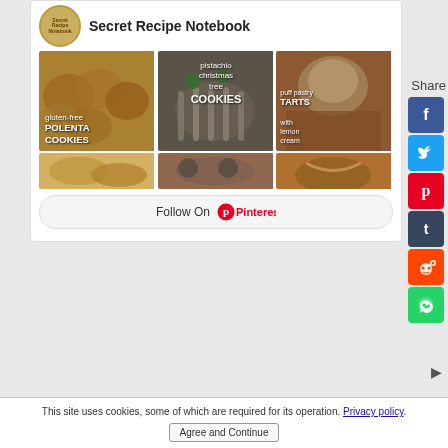Secret Recipe Notebook
[Figure (photo): Grid of food photos: gluten-free polenta cookies, pistachio christmas tree cookies, puff pastry tarts with lemon cream, and three partial thumbnail images below]
Follow On Pinterest
Share
This site uses cookies, some of which are required for its operation. Privacy policy.
Agree and Continue